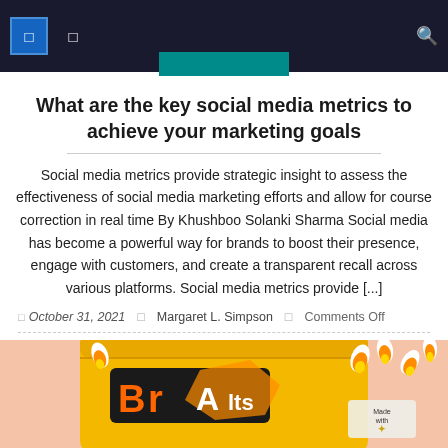Navigation header with icons
What are the key social media metrics to achieve your marketing goals
Social media metrics provide strategic insight to assess the effectiveness of social media marketing efforts and allow for course correction in real time By Khushboo Solanki Sharma Social media has become a powerful way for brands to boost their presence, engage with customers, and create a transparent recall across various platforms. Social media metrics provide [...]
October 31, 2021   Margaret L. Simpson   Comments Off
[Figure (photo): Bottom portion of a candy corn snack bag (Brach's or similar brand) with candy corn pieces visible, on a peach/salmon background.]